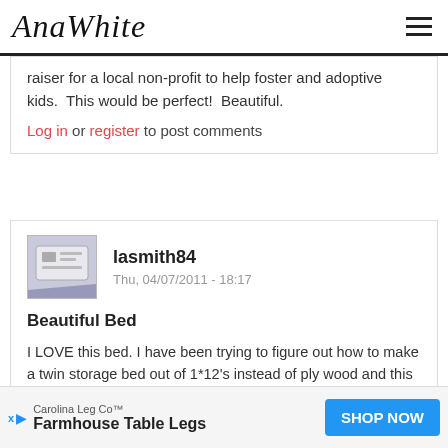Ana White
raiser for a local non-profit to help foster and adoptive kids.  This would be perfect!  Beautiful.
Log in or register to post comments
lasmith84
Thu, 04/07/2011 - 18:17
Beautiful Bed
I LOVE this bed. I have been trying to figure out how to make a twin storage bed out of 1*12's instead of ply wood and this is exactly that. I'm already thinking of how to convert this to a day bed for our spare roo
Carolina Leg Co™
Farmhouse Table Legs
SHOP NOW